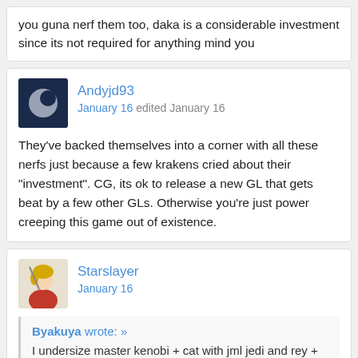you guna nerf them too, daka is a considerable investment since its not required for anything mind you
Andyjd93
January 16 edited January 16

They've backed themselves into a corner with all these nerfs just because a few krakens cried about their "investment". CG, its ok to release a new GL that gets beat by a few other GLs. Otherwise you're just power creeping this game out of existence.
Starslayer
January 16

Byakuya wrote: »
I undersize master kenobi + cat with jml jedi and rey + jedi are you guna nerf them too, daka is a considerable investment since its not required for anything mind you